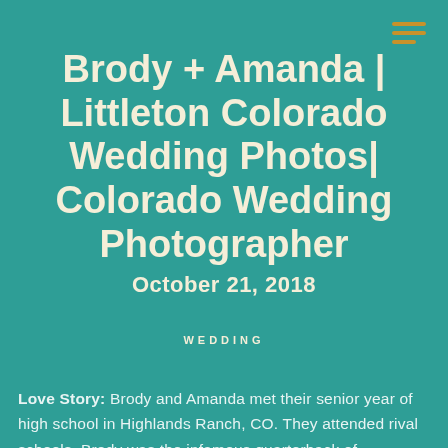Brody + Amanda | Littleton Colorado Wedding Photos| Colorado Wedding Photographer
October 21, 2018
WEDDING
Love Story: Brody and Amanda met their senior year of high school in Highlands Ranch, CO. They attended rival schools. Brody was the infamous quarterback of